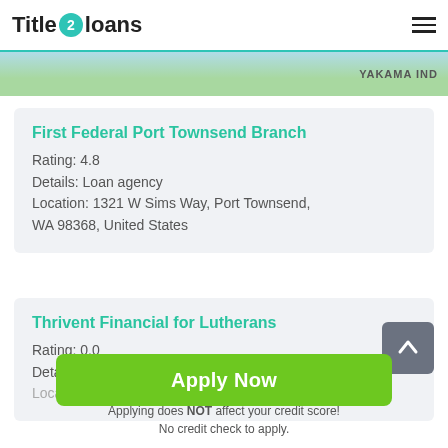Title 2 loans
[Figure (map): Partial map view showing YAKAMA IND region]
First Federal Port Townsend Branch
Rating: 4.8
Details: Loan agency
Location: 1321 W Sims Way, Port Townsend, WA 98368, United States
Thrivent Financial for Lutherans
Rating: 0.0
Details: Loan agency
Location: 625 Tyler St, Port Townsend, WA
Apply Now
Applying does NOT affect your credit score!
No credit check to apply.